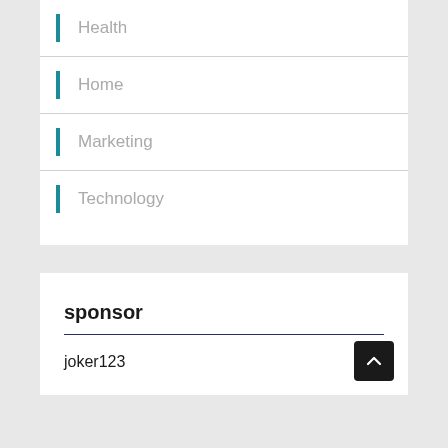Health
Home
Marketing
Technology
sponsor
joker123